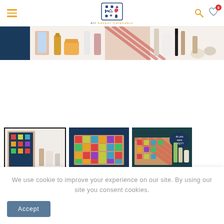All Advent Calendars - navigation header with hamburger menu, logo, search and wishlist icons
[Figure (photo): Product image strip showing various beauty/skincare advent calendar products including bottles, jars, and cosmetics items in a cropped horizontal banner]
[Figure (photo): Three thumbnail images of advent calendar boxes: first selected thumbnail showing open pink/red box with products, second showing closed colorful box on dark blue background, third showing items on dark teal background with speech bubble tag]
We use cookie to improve your experience on our site. By using our site you consent cookies.
Accept